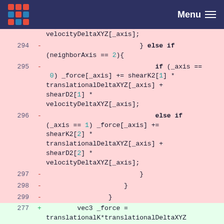Menu
Code diff showing lines 294-299 (removed, pink background) and line 277 (added, green background) of a C++ source file dealing with force calculations using shear and translational delta values.